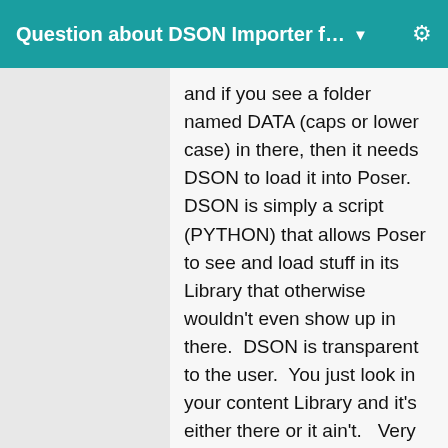Question about DSON Importer f…
and if you see a folder named DATA (caps or lower case) in there, then it needs DSON to load it into Poser.  DSON is simply a script (PYTHON) that allows Poser to see and load stuff in its Library that otherwise wouldn't even show up in there.  DSON is transparent to the user.  You just look in your content Library and it's either there or it ain't.   Very easy to install.  Just put the CORRECT version into the Poser 11 program folder.  If you are using the 64 bit Poser, then you have to use